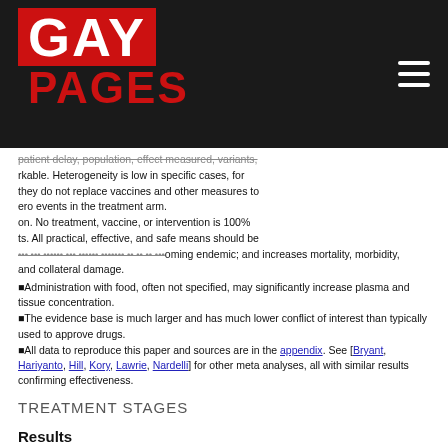[Figure (logo): Gay Pages logo with red GAY on dark background and red PAGES text, with hamburger menu icon on right]
patient delay, population, effect measured, variants, remarkable. Heterogeneity is low in specific cases, for they do not replace vaccines and other measures to ero events in the treatment arm. on. No treatment, vaccine, or intervention is 100% ts. All practical, effective, and safe means should be oming endemic; and increases mortality, morbidity, and collateral damage.
Administration with food, often not specified, may significantly increase plasma and tissue concentration.
The evidence base is much larger and has much lower conflict of interest than typically used to approve drugs.
All data to reproduce this paper and sources are in the appendix. See [Bryant, Hariyanto, Hill, Kory, Lawrie, Nardelli] for other meta analyses, all with similar results confirming effectiveness.
TREATMENT STAGES
Results
| Treatment time | Number of studies | Total number of | Percentage of studies reporting | Pro equ per |
| --- | --- | --- | --- | --- |